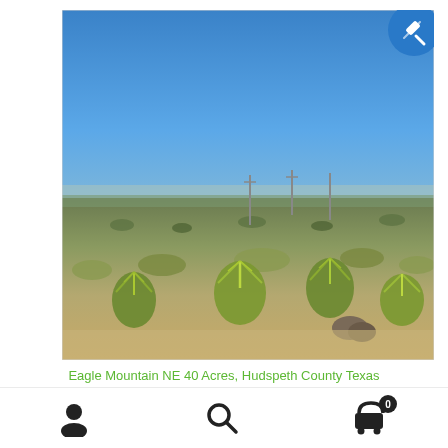[Figure (photo): Aerial view of desert scrubland in Eagle Mountain NE area, Hudspeth County, Texas. Wide flat terrain with yucca plants, dry grass, scattered rocks, and a clear blue sky. Utility poles visible in the mid-distance. Auction badge (blue circle with gavel icon) in top-right corner.]
Eagle Mountain NE 40 Acres, Hudspeth County Texas